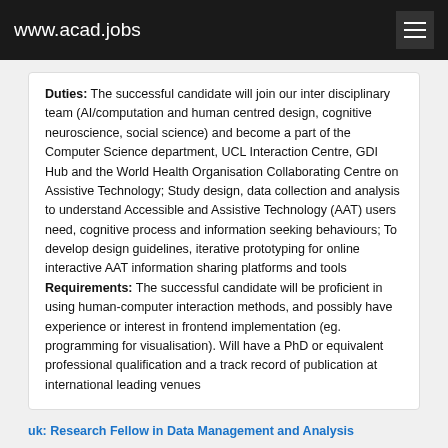www.acad.jobs
Duties: The successful candidate will join our inter disciplinary team (AI/computation and human centred design, cognitive neuroscience, social science) and become a part of the Computer Science department, UCL Interaction Centre, GDI Hub and the World Health Organisation Collaborating Centre on Assistive Technology; Study design, data collection and analysis to understand Accessible and Assistive Technology (AAT) users need, cognitive process and information seeking behaviours; To develop design guidelines, iterative prototyping for online interactive AAT information sharing platforms and tools Requirements: The successful candidate will be proficient in using human-computer interaction methods, and possibly have experience or interest in frontend implementation (eg. programming for visualisation). Will have a PhD or equivalent professional qualification and a track record of publication at international leading venues
uk: Research Fellow in Data Management and Analysis